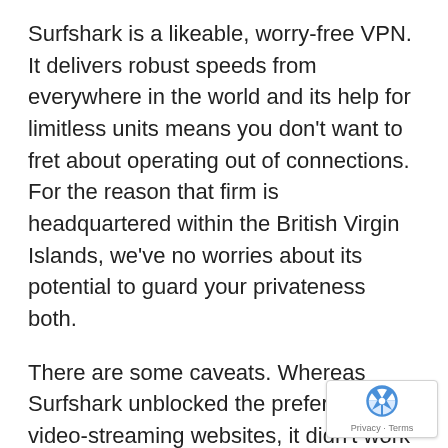Surfshark is a likeable, worry-free VPN. It delivers robust speeds from everywhere in the world and its help for limitless units means you don't want to fret about operating out of connections. For the reason that firm is headquartered within the British Virgin Islands, we've no worries about its potential to guard your privateness both.
There are some caveats. Whereas Surfshark unblocked the preferred video-streaming websites, it didn't work with all of them. And whereas it's low-cost for the primary two years, the value successfully doubles after that.
For most individuals, although, Surfshark will do a superb job at a superb value – and you'll at all times cancel the service and begin a brand new 24-month subscription when the time comes. That makes it an excellent selection for anybody looking for a low-cost, can-do VPN.